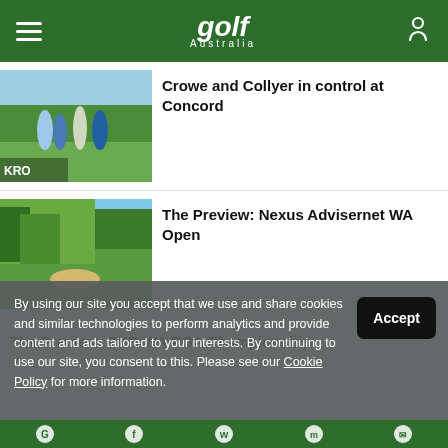Golf Australia
Crowe and Collyer in control at Concord
The Preview: Nexus Advisernet WA Open
The Preview: CKB WA PGA Championship
By using our site you accept that we use and share cookies and similar technologies to perform analytics and provide content and ads tailored to your interests. By continuing to use our site, you consent to this. Please see our Cookie Policy for more information.